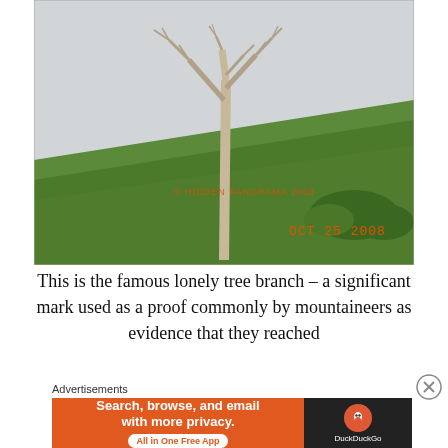[Figure (photo): Photograph of a bare dead tree on a green grassy hillside under an overcast sky. The tree has no leaves with gnarled branches. Watermark text reads '© HIDDEN PANORAMA 2008' in orange, and a timestamp 'OCT 25 2008' in orange in the bottom right.]
This is the famous lonely tree branch – a significant mark used as a proof commonly by mountaineers as evidence that they reached
Advertisements
[Figure (screenshot): DuckDuckGo advertisement banner: left side orange with text 'Search, browse, and email with more privacy. All in One Free App'; right side dark with DuckDuckGo logo and brand name.]